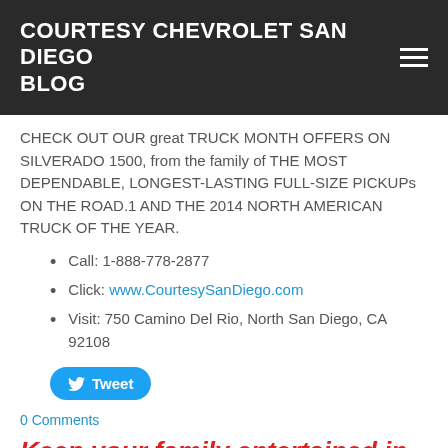COURTESY CHEVROLET SAN DIEGO BLOG
CHECK OUT OUR great TRUCK MONTH OFFERS ON SILVERADO 1500, from the family of THE MOST DEPENDABLE, LONGEST-LASTING FULL-SIZE PICKUPs ON THE ROAD.1 AND THE 2014 NORTH AMERICAN TRUCK OF THE YEAR.
Call: 1-888-778-2877
Click: www.CourtesySanDiego.com
Visit: 750 Camino Del Rio, North San Diego, CA 92108
Tweet
0 Comments
Keep your family entertained in